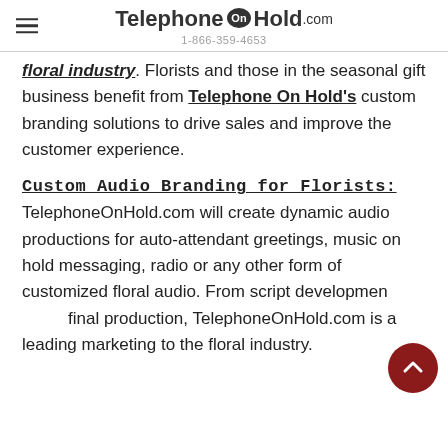TelephoneOnHold.com 1-866-359-4653
floral industry. Florists and those in the seasonal gift business benefit from Telephone On Hold's custom branding solutions to drive sales and improve the customer experience.
Custom Audio Branding for Florists:
TelephoneOnHold.com will create dynamic audio productions for auto-attendant greetings, music on hold messaging, radio or any other form of customized floral audio. From script development to final production, TelephoneOnHold.com is a leading marketing to the floral industry.